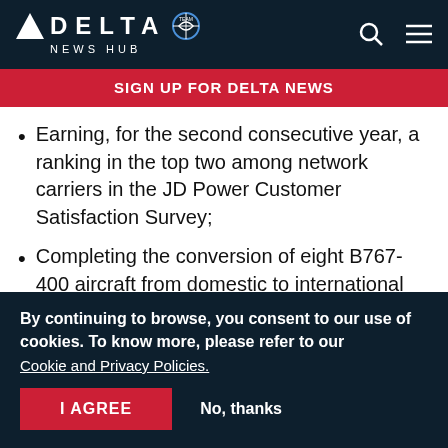DELTA NEWS HUB
SIGN UP FOR DELTA NEWS
Earning, for the second consecutive year, a ranking in the top two among network carriers in the JD Power Customer Satisfaction Survey;
Completing the conversion of eight B767-400 aircraft from domestic to international service, to continue its international expansion
By continuing to browse, you consent to our use of cookies. To know more, please refer to our Cookie and Privacy Policies.
I AGREE  No, thanks